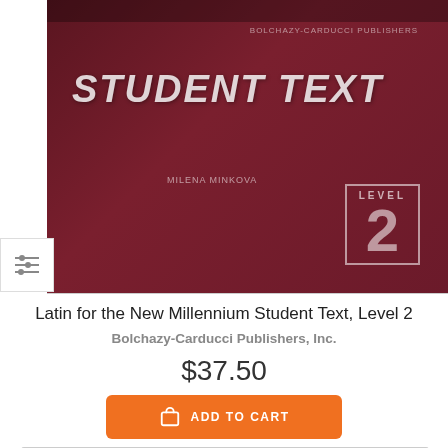[Figure (photo): Book cover for Latin for the New Millennium Student Text Level 2, dark red/maroon background with 'STUDENT TEXT' and 'LEVEL 2' text]
Latin for the New Millennium Student Text, Level 2
Bolchazy-Carducci Publishers, Inc.
$37.50
ADD TO CART
[Figure (photo): Book cover for 'From Romulus to Romulus Augustulus', purple background with large white text]